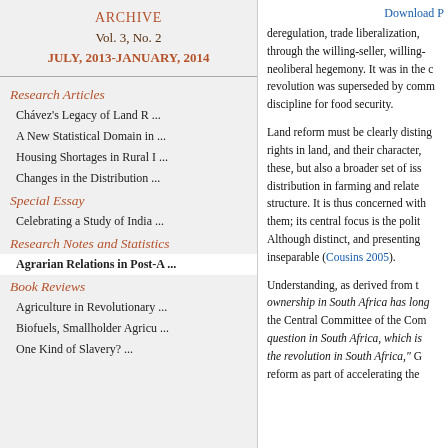ARCHIVE
Vol. 3, No. 2
JULY, 2013-JANUARY, 2014
Research Articles
Chávez's Legacy of Land R ...
A New Statistical Domain in ...
Housing Shortages in Rural I ...
Changes in the Distribution ...
Special Essay
Celebrating a Study of India ...
Research Notes and Statistics
Agrarian Relations in Post-A ...
Book Reviews
Agriculture in Revolutionary ...
Biofuels, Smallholder Agricu ...
One Kind of Slavery? ...
Download P
deregulation, trade liberalization, through the willing-seller, willing- neoliberal hegemony. It was in the c revolution was superseded by comm discipline for food security.
Land reform must be clearly disting rights in land, and their character, these, but also a broader set of iss distribution in farming and relate structure. It is thus concerned with them; its central focus is the polit Although distinct, and presenting inseparable (Cousins 2005).
Understanding, as derived from t ownership in South Africa has long the Central Committee of the Com question in South Africa, which is the revolution in South Africa," G reform as part of accelerating the